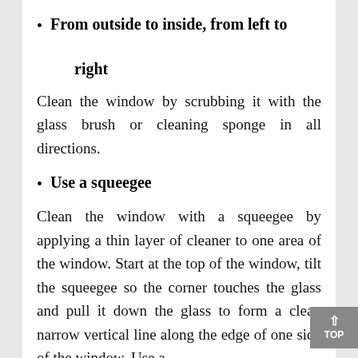From outside to inside, from left to right
Clean the window by scrubbing it with the glass brush or cleaning sponge in all directions.
Use a squeegee
Clean the window with a squeegee by applying a thin layer of cleaner to one area of the window. Start at the top of the window, tilt the squeegee so the corner touches the glass and pull it down the glass to form a clean narrow vertical line along the edge of one side of the window. Use a clean, dry cloth to wipe the squeegee...